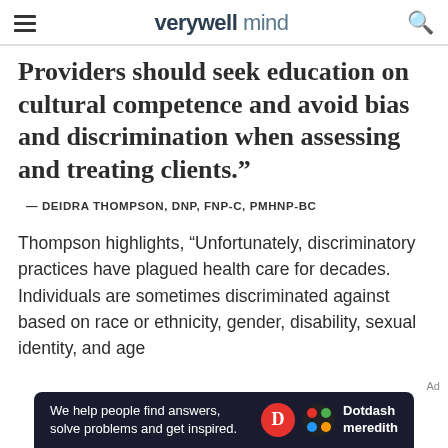verywell mind
Providers should seek education on cultural competence and avoid bias and discrimination when assessing and treating clients."
— DEIDRA THOMPSON, DNP, FNP-C, PMHNP-BC
Thompson highlights, "Unfortunately, discriminatory practices have plagued health care for decades. Individuals are sometimes discriminated against based on race or ethnicity, gender, disability, sexual identity, and age
[Figure (other): Dotdash Meredith banner advertisement: 'We help people find answers, solve problems and get inspired.' with Dotdash Meredith logo]